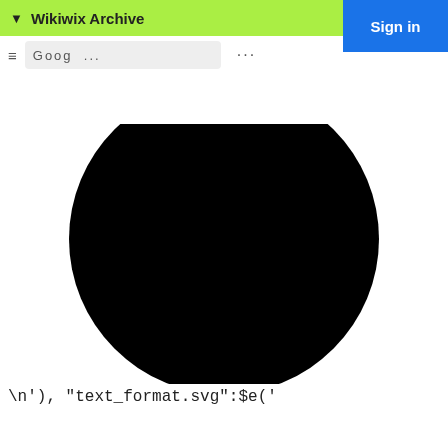▼ Wikiwix Archive
Sign in
≡  Goog( ...
[Figure (illustration): Large black filled circle/semicircle shape centered on the page]
\n'), "text_format.svg":$e('